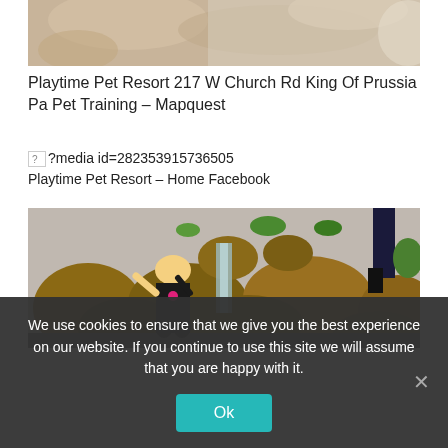[Figure (photo): Close-up photo of a light-colored animal (dog or cat), cropped, showing fur texture against a light background]
Playtime Pet Resort 217 W Church Rd King Of Prussia Pa Pet Training – Mapquest
[Figure (other): Broken image placeholder with URL ?media id=282353915736505 followed by text: Playtime Pet Resort – Home Facebook]
[Figure (photo): Photo of a young blonde girl in a black striped shirt standing by a decorative rock waterfall feature, outdoors]
We use cookies to ensure that we give you the best experience on our website. If you continue to use this site we will assume that you are happy with it.